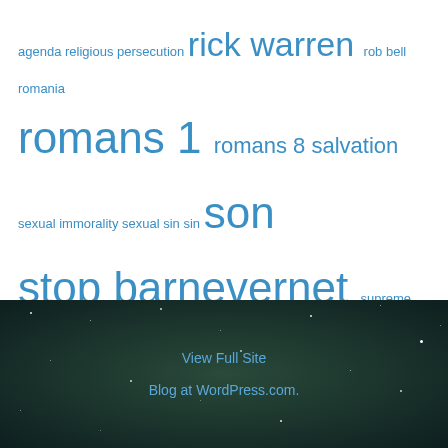agenda religious persecution rick warren rob bell romania romans 1 romans 8 salvation sexual immorality sexual sin sin son stop barnevernet supreme court surgery theodicy theology time lapse video trinity universalism voting worship
© Copyright Info
All material authored by Delight in Truth may be reblogged and re-posted with reference and link to the site of origin.
View Full Site
Blog at WordPress.com.